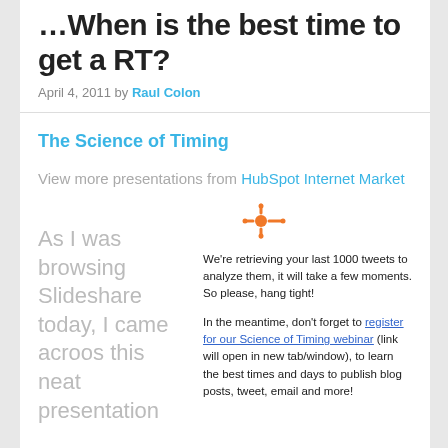When is the best time to get a RT?
April 4, 2011 by Raul Colon
The Science of Timing
View more presentations from HubSpot Internet Market
As I was browsing Slideshare today, I came acroos this neat presentation
[Figure (logo): HubSpot orange logo icon]
We're retrieving your last 1000 tweets to analyze them, it will take a few moments. So please, hang tight!

In the meantime, don't forget to register for our Science of Timing webinar (link will open in new tab/window), to learn the best times and days to publish blog posts, tweet, email and more!